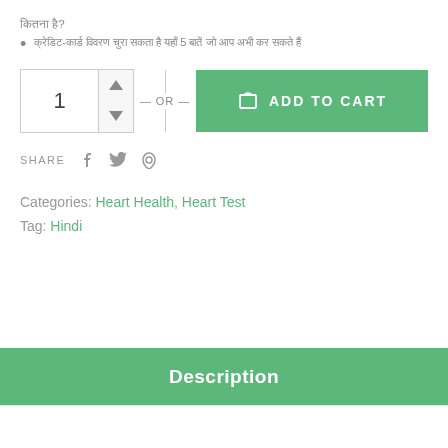कितना है?
क्रेडिट-कार्ड विवरण चुरा सकता है यहाँ 5 बातें जो आप अभी कर सकते हैं
[Figure (screenshot): Quantity selector box with number 1 and up/down arrows, OR divider, and green ADD TO CART button with cart icon]
SHARE  f  𝕎  ℗
Categories: Heart Health, Heart Test
Tag: Hindi
Description